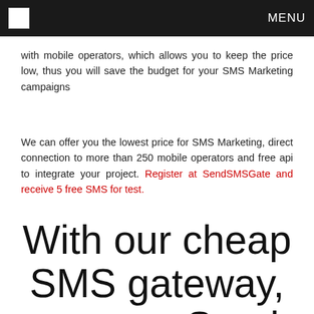MENU
with mobile operators, which allows you to keep the price low, thus you will save the budget for your SMS Marketing campaigns
We can offer you the lowest price for SMS Marketing, direct connection to more than 250 mobile operators and free api to integrate your project. Register at SendSMSGate and receive 5 free SMS for test.
With our cheap SMS gateway, you can Send SMS to almost all countries worldwide!